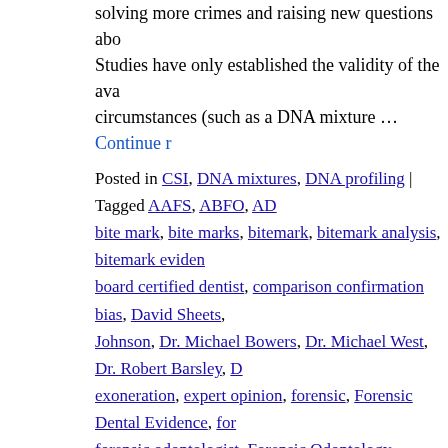solving more crimes and raising new questions abo... Studies have only established the validity of the ava... circumstances (such as a DNA mixture … Continue r
Posted in CSI, DNA mixtures, DNA profiling | Tagged AAFS, ABFO, AD bite mark, bite marks, bitemark, bitemark analysis, bitemark eviden board certified dentist, comparison confirmation bias, David Sheets, Johnson, Dr. Michael Bowers, Dr. Michael West, Dr. Robert Barsley, D exoneration, expert opinion, forensic, Forensic Dental Evidence, for forensic odontologist, Forensic Odontology, Forensic science, homici partners, innocence project, Innocent, Investigator's Handbook, JAD Leigh Stubbs, Levon Brooks, Mary Bush, Michael bowers, Michael W National Academy of Science, National District Attorney Association, Foundation, observer effects, Odontology, PCAST, Peter Bush, Ray K Saliva, scientific method in forensics, screening film, starks, Stinso toolmark, University of Buffalo, UV photography, validity, West, Wis convictions, wrongfully convicted | Leave a comment
Canadian wrongful conviction file totals 8
Posted on November 1, 2016 by csidds
Innocence Canada struggling for funding for wrong